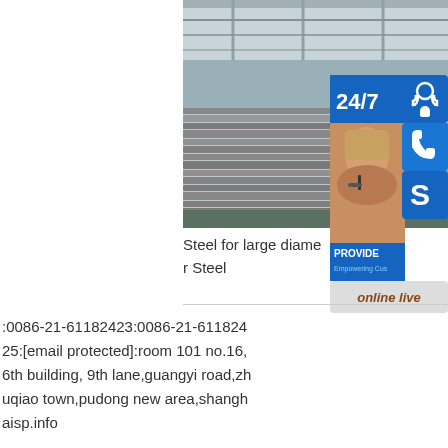[Figure (photo): Warehouse with stacks of large steel plates/sheets, industrial setting with overhead structure visible]
[Figure (infographic): Customer service overlay with 24/7 banner, headset icon, phone icon, Skype icon, CSR photo, PROVIDE/Empowering Customers text, and orange online live button]
Steel for large diameter pipe steel, Boiler Steel
:0086-21-61182423:0086-21-61182425:[email protected]:room 101 no.16, 6th building, 9th lane,guangyi road,zhuqiao town,pudong new area,shanghaisp.info